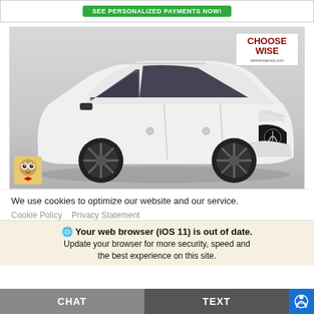[Figure (screenshot): Green button banner: SEE PERSONALIZED PAYMENTS NOW!]
[Figure (photo): White Infiniti QX50 SUV with black wheels shown from three-quarter front angle. Choose Wise / wiseautogroup.com badge in top right corner. Owl mascot in bottom left corner.]
We use cookies to optimize our website and our service.
Cookie Policy   Privacy Statement
🌐 Your web browser (iOS 11) is out of date. Update your browser for more security, speed and the best experience on this site.
CHAT
TEXT